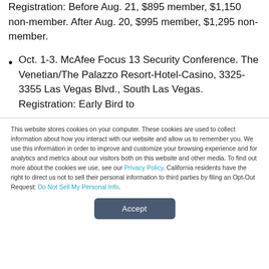Registration: Before Aug. 21, $895 member, $1,150 non-member. After Aug. 20, $995 member, $1,295 non-member.
Oct. 1-3. McAfee Focus 13 Security Conference. The Venetian/The Palazzo Resort-Hotel-Casino, 3325-3355 Las Vegas Blvd., South Las Vegas. Registration: Early Bird to
This website stores cookies on your computer. These cookies are used to collect information about how you interact with our website and allow us to remember you. We use this information in order to improve and customize your browsing experience and for analytics and metrics about our visitors both on this website and other media. To find out more about the cookies we use, see our Privacy Policy. California residents have the right to direct us not to sell their personal information to third parties by filing an Opt-Out Request: Do Not Sell My Personal Info.